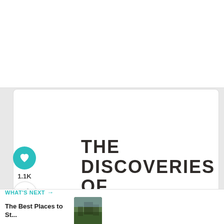THE DISCOVERIES OF
1.1K
WHAT'S NEXT → The Best Places to St...